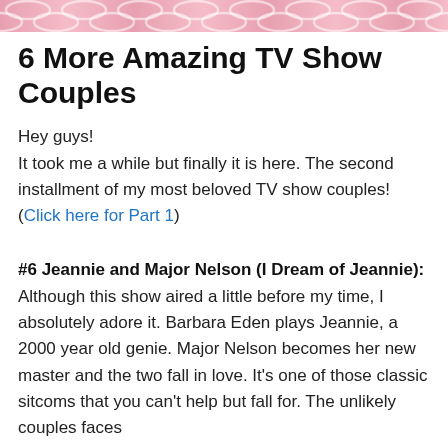[Figure (illustration): Pink and white swirling decorative banner at top of page]
6 More Amazing TV Show Couples
Hey guys!
It took me a while but finally it is here. The second installment of my most beloved TV show couples! (Click here for Part 1)
#6 Jeannie and Major Nelson (I Dream of Jeannie):
Although this show aired a little before my time, I absolutely adore it. Barbara Eden plays Jeannie, a 2000 year old genie. Major Nelson becomes her new master and the two fall in love. It's one of those classic sitcoms that you can't help but fall for. The unlikely couples faces